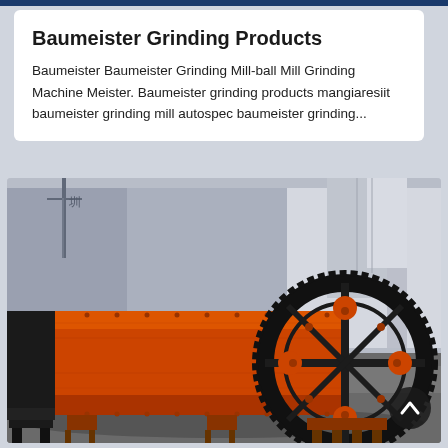Baumeister Grinding Products
Baumeister Baumeister Grinding Mill-ball Mill Grinding Machine Meister. Baumeister grinding products mangiaresiit baumeister grinding mill autospec baumeister grinding...
[Figure (photo): Industrial ball mill grinding machine in orange color with large black gear ring, inside an industrial warehouse facility.]